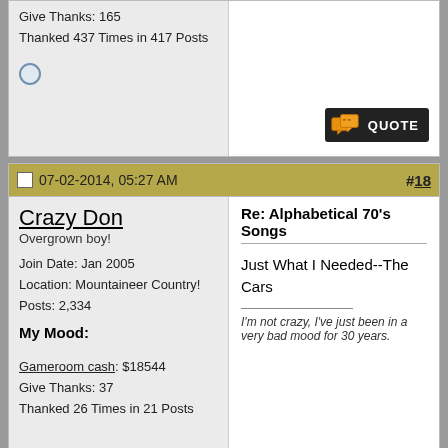Give Thanks: 165
Thanked 437 Times in 417 Posts
07-02-2014, 05:27 AM  #18
Crazy Don
Overgrown boy!
Join Date: Jan 2005
Location: Mountaineer Country!
Posts: 2,334
My Mood:
Gameroom cash: $18544
Give Thanks: 37
Thanked 26 Times in 21 Posts
Re: Alphabetical 70's Songs
Just What I Needed--The Cars
I'm not crazy, I've just been in a very bad mood for 30 years.